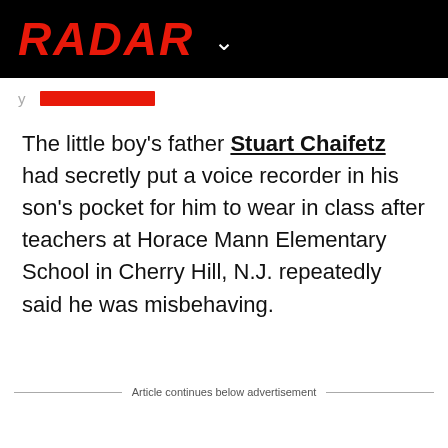RADAR
The little boy's father Stuart Chaifetz had secretly put a voice recorder in his son's pocket for him to wear in class after teachers at Horace Mann Elementary School in Cherry Hill, N.J. repeatedly said he was misbehaving.
Article continues below advertisement